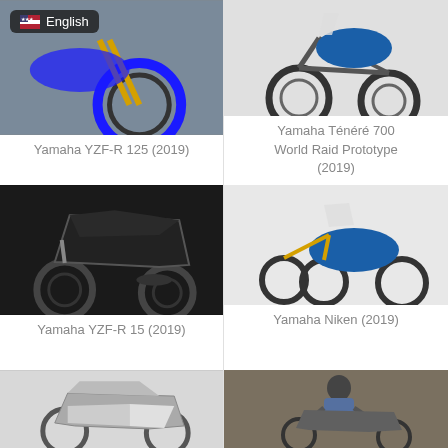[Figure (photo): Yamaha YZF-R 125 (2019) motorcycle front wheel detail with English language badge overlay]
Yamaha YZF-R 125 (2019)
[Figure (photo): Yamaha Ténéré 700 World Raid Prototype (2019) adventure motorcycle in blue]
Yamaha Ténéré 700 World Raid Prototype (2019)
[Figure (photo): Yamaha YZF-R 15 (2019) sport motorcycle in black]
Yamaha YZF-R 15 (2019)
[Figure (photo): Yamaha Niken (2019) three-wheel motorcycle in blue]
Yamaha Niken (2019)
[Figure (photo): Yamaha sport-touring motorcycle (2019) in grey/white]
[Figure (photo): Rider on Yamaha motorcycle sport touring bike]